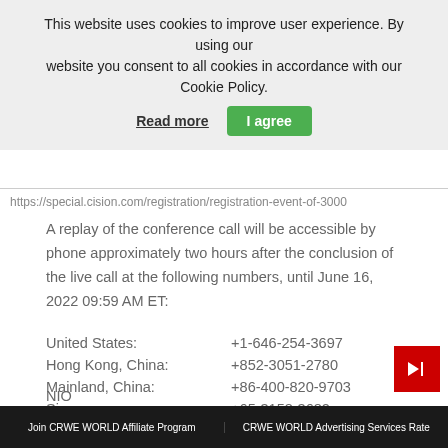This website uses cookies to improve user experience. By using our website you consent to all cookies in accordance with our Cookie Policy.
Read more   I agree
https://special.cision.com/registration/registration-event-of-3000
A replay of the conference call will be accessible by phone approximately two hours after the conclusion of the live call at the following numbers, until June 16, 2022 09:59 AM ET:
| Location | Number |
| --- | --- |
| United States: | +1-646-254-3697 |
| Hong Kong, China: | +852-3051-2780 |
| Mainland, China: | +86-400-820-9703 |
| Singapore: | +65-3158-3682 |
| International: | +61-2-8199-0299 |
| Conference ID: | 5756039 |
About NIO Inc.
NIO
Join CRWE WORLD Affiliate Program   CRWE WORLD Advertising Services Rate